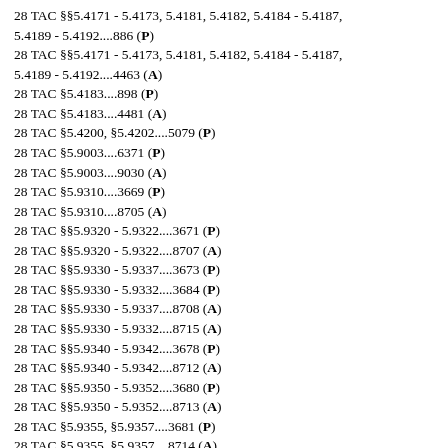28 TAC §§5.4171 - 5.4173, 5.4181, 5.4182, 5.4184 - 5.4187, 5.4189 - 5.4192....886 (P)
28 TAC §§5.4171 - 5.4173, 5.4181, 5.4182, 5.4184 - 5.4187, 5.4189 - 5.4192....4463 (A)
28 TAC §5.4183....898 (P)
28 TAC §5.4183....4481 (A)
28 TAC §5.4200, §5.4202....5079 (P)
28 TAC §5.9003....6371 (P)
28 TAC §5.9003....9030 (A)
28 TAC §5.9310....3669 (P)
28 TAC §5.9310....8705 (A)
28 TAC §§5.9320 - 5.9322....3671 (P)
28 TAC §§5.9320 - 5.9322....8707 (A)
28 TAC §§5.9330 - 5.9337....3673 (P)
28 TAC §§5.9330 - 5.9332....3684 (P)
28 TAC §§5.9330 - 5.9337....8708 (A)
28 TAC §§5.9330 - 5.9332....8715 (A)
28 TAC §§5.9340 - 5.9342....3678 (P)
28 TAC §§5.9340 - 5.9342....8712 (A)
28 TAC §§5.9350 - 5.9352....3680 (P)
28 TAC §§5.9350 - 5.9352....8713 (A)
28 TAC §5.9355, §5.9357....3681 (P)
28 TAC §5.9355, §5.9357....8714 (A)
28 TAC §5.9360, §5.9361....3683 (P)
28 TAC §5.9360, §5.9361....8714 (A)
CHAPTER 6. CAPTIVE INSURANCE